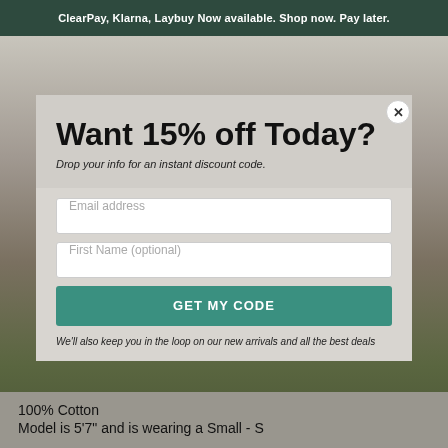ClearPay, Klarna, Laybuy Now available. Shop now. Pay later.
Want 15% off Today?
Drop your info for an instant discount code.
Email address
First Name (optional)
GET MY CODE
We'll also keep you in the loop on our new arrivals and all the best deals
100% Cotton
Model is 5'7" and is wearing a Small - S